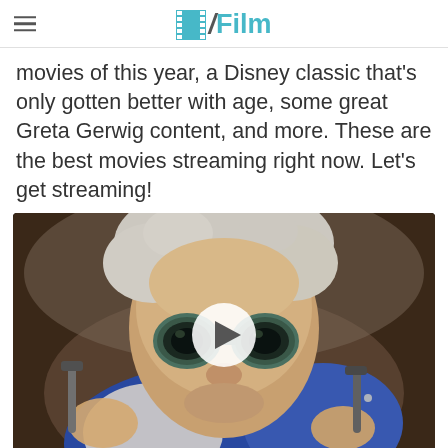/Film
movies of this year, a Disney classic that's only gotten better with age, some great Greta Gerwig content, and more. These are the best movies streaming right now. Let's get streaming!
[Figure (photo): Video thumbnail showing Doc Brown character from Back to the Future wearing large green goggles and holding tools, with a play button overlay in the center]